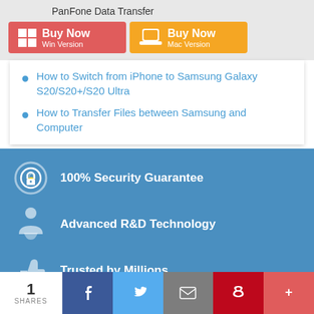PanFone Data Transfer
[Figure (screenshot): Buy Now Win Version button (red) and Buy Now Mac Version button (orange)]
How to Switch from iPhone to Samsung Galaxy S20/S20+/S20 Ultra
How to Transfer Files between Samsung and Computer
100% Security Guarantee
Advanced R&D Technology
Trusted by Millions
1 SHARES